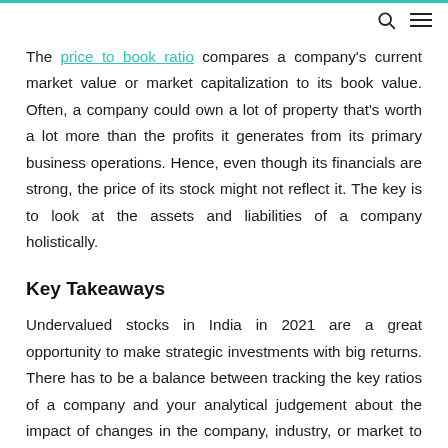🔍 ≡
The price to book ratio compares a company's current market value or market capitalization to its book value. Often, a company could own a lot of property that's worth a lot more than the profits it generates from its primary business operations. Hence, even though its financials are strong, the price of its stock might not reflect it. The key is to look at the assets and liabilities of a company holistically.
Key Takeaways
Undervalued stocks in India in 2021 are a great opportunity to make strategic investments with big returns. There has to be a balance between tracking the key ratios of a company and your analytical judgement about the impact of changes in the company, industry, or market to be able to identify undervalued stocks